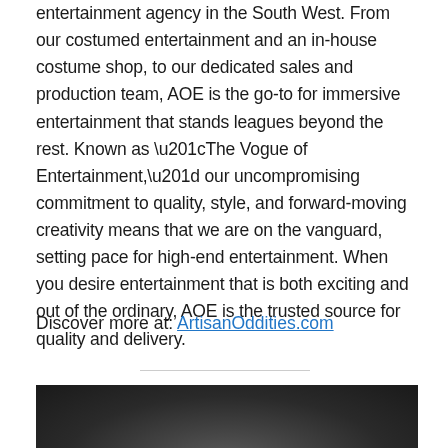entertainment agency in the South West. From our costumed entertainment and an in-house costume shop, to our dedicated sales and production team, AOE is the go-to for immersive entertainment that stands leagues beyond the rest. Known as “The Vogue of Entertainment,” our uncompromising commitment to quality, style, and forward-moving creativity means that we are on the vanguard, setting pace for high-end entertainment. When you desire entertainment that is both exciting and out of the ordinary, AOE is the trusted source for quality and delivery.
Discover more at: ArtisanOddities.com
[Figure (photo): Dark background photo showing a person, partially visible at the bottom of the page.]